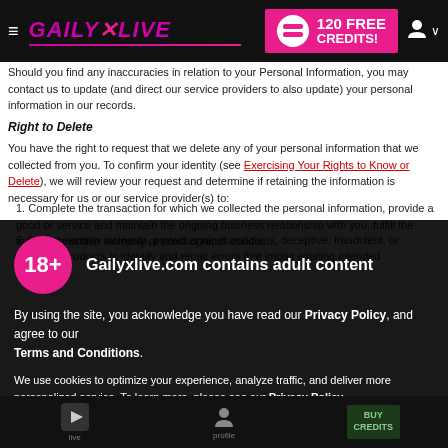GailyXLive — 120 FREE CREDITS!
Should you find any inaccuracies in relation to your Personal Information, you may contact us to update (and direct our service providers to also update) your personal information in our records.
Right to Delete
You have the right to request that we delete any of your personal information that we collected from you. To confirm your identity (see Exercising Your Rights to Know or Delete), we will review your request and determine if retaining the information is necessary for us or our service provider(s) to:
1. Complete the transaction for which we collected the personal information, provide a good or service requested by you, or reasonably anticipated within the context of our ongoing business relationship with you, fulfill the terms of a written warranty or product recall conducted in accordance with federal law.
2. Detect security incidents, protect against malicious, deceptive, fraudulent, or illegal activity.
3. Debug products to identify and repair errors that impair existing intended functionality.
18+ Gailyxlive.com contains adult content
By using the site, you acknowledge you have read our Privacy Policy, and agree to our Terms and Conditions.
We use cookies to optimize your experience, analyze traffic, and deliver more personalized service. To learn more, please see our Privacy Policy.
I AGREE
Exercising Your Rights to Know or Delete